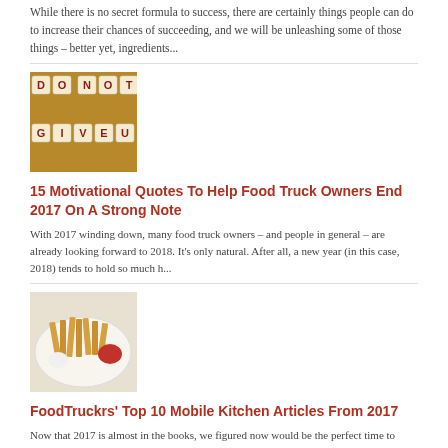While there is no secret formula to success, there are certainly things people can do to increase their chances of succeeding, and we will be unleashing some of those things – better yet, ingredients...
[Figure (photo): Scrabble tiles spelling 'DO NOT GIVE UP' on a cork board background]
15 Motivational Quotes To Help Food Truck Owners End 2017 On A Strong Note
With 2017 winding down, many food truck owners – and people in general – are already looking forward to 2018. It's only natural. After all, a new year (in this case, 2018) tends to hold so much h...
[Figure (photo): Plate of French fries with ketchup on a white surface]
FoodTruckrs' Top 10 Mobile Kitchen Articles From 2017
Now that 2017 is almost in the books, we figured now would be the perfect time to unleash the top 10 mobile kitchen articles from 2017. With that in mind, below you will, of course, find the most v...